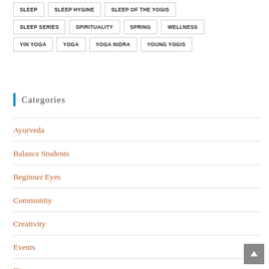SLEEP
SLEEP HYGINE
SLEEP OF THE YOGIS
SLEEP SERIES
SPIRITUALITY
SPRING
WELLNESS
YIN YOGA
YOGA
YOGA NIDRA
YOUNG YOGIS
Categories
Ayurveda
Balance Students
Beginner Eyes
Community
Creativity
Events
Fitness